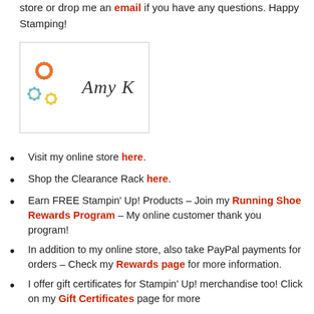store or drop me an email if you have any questions. Happy Stamping!
[Figure (illustration): Signature box with orange and teal flower illustrations and cursive signature 'Amy K']
Visit my online store here.
Shop the Clearance Rack here.
Earn FREE Stampin' Up! Products – Join my Running Shoe Rewards Program – My online customer thank you program!
In addition to my online store, also take PayPal payments for orders – Check my Rewards page for more information.
I offer gift certificates for Stampin' Up! merchandise too! Click on my Gift Certificates page for more